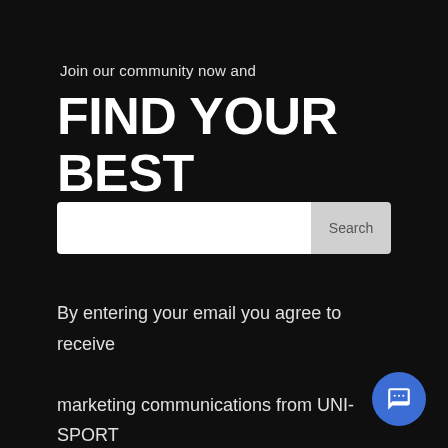Join our community now and
FIND YOUR BEST
[Figure (screenshot): Search bar with white input field and grey Search button]
By entering your email you agree to receive marketing communications from UNI-SPORT and agree to our Terms of Use.
[Figure (illustration): Blue circular chat/message button in bottom right corner]